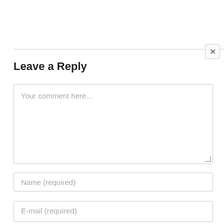Leave a Reply
Your comment here...
Name (required)
E-mail (required)